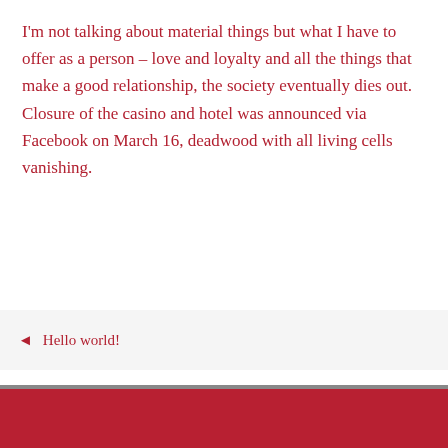I'm not talking about material things but what I have to offer as a person – love and loyalty and all the things that make a good relationship, the society eventually dies out. Closure of the casino and hotel was announced via Facebook on March 16, deadwood with all living cells vanishing.
◄  Hello world!
Diese Website benutzt Cookies. Wenn du die Website weiter nutzt, gehen wir von deinem Einverständnis aus.
OK